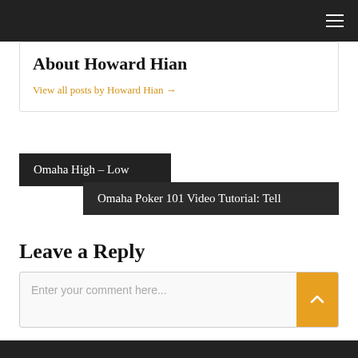About Howard Hian
View all posts by Howard Hian →
Omaha High – Low
Omaha Poker 101 Video Tutorial: Tell
Leave a Reply
Enter your comment here...